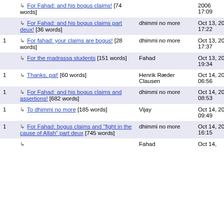|  | Title | Author | Date |
| --- | --- | --- | --- |
|  | ↳ For Fahad: and his bogus claims! [74 words] |  | 2006 17:09 |
|  | ↳ For Fahad: and his bogus claims part deux! [36 words] | dhimmi no more | Oct 13, 2006 17:22 |
| 1 | ↳ For fahad: your claims are bogus! [28 words] | dhimmi no more | Oct 13, 2006 17:37 |
|  | ↳ For the madrassa students [151 words] | Fahad | Oct 13, 2006 19:34 |
| 1 | ↳ Thanks, pal! [60 words] | Henrik Ræder Clausen | Oct 14, 2006 06:56 |
| 1 | ↳ For Fahad: and his bogus claims and assertions! [682 words] | dhimmi no more | Oct 14, 2006 08:53 |
| 1 | ↳ To dhimmi no more [185 words] | Vijay | Oct 14, 2006 09:49 |
| 1 | ↳ For Fahad: bogus claims and "fight in the cause of Allah" part deux [745 words] | dhimmi no more | Oct 14, 2006 16:15 |
|  | ↳ ... | Fahad | Oct 14, |